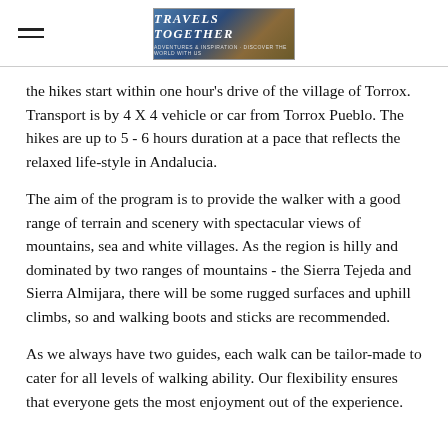Travels Together
the hikes start within one hour's drive of the village of Torrox. Transport is by 4 X 4 vehicle or car from Torrox Pueblo. The hikes are up to 5 - 6 hours duration at a pace that reflects the relaxed life-style in Andalucia.
The aim of the program is to provide the walker with a good range of terrain and scenery with spectacular views of mountains, sea and white villages. As the region is hilly and dominated by two ranges of mountains - the Sierra Tejeda and Sierra Almijara, there will be some rugged surfaces and uphill climbs, so and walking boots and sticks are recommended.
As we always have two guides, each walk can be tailor-made to cater for all levels of walking ability. Our flexibility ensures that everyone gets the most enjoyment out of the experience.